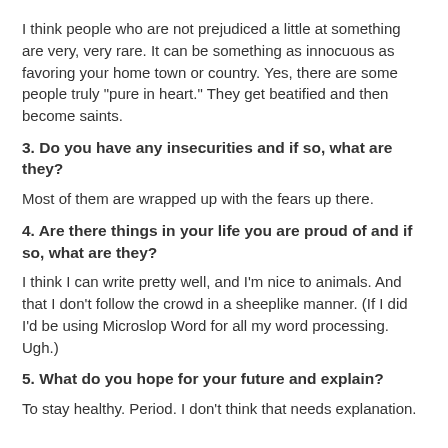I think people who are not prejudiced a little at something are very, very rare. It can be something as innocuous as favoring your home town or country. Yes, there are some people truly "pure in heart." They get beatified and then become saints.
3. Do you have any insecurities and if so, what are they?
Most of them are wrapped up with the fears up there.
4. Are there things in your life you are proud of and if so, what are they?
I think I can write pretty well, and I'm nice to animals. And that I don't follow the crowd in a sheeplike manner. (If I did I'd be using Microslop Word for all my word processing. Ugh.)
5. What do you hope for your future and explain?
To stay healthy. Period. I don't think that needs explanation.